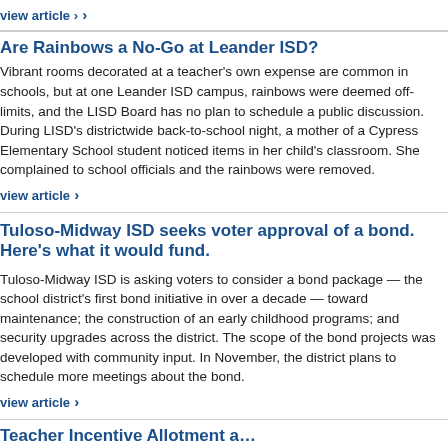view article ›
Are Rainbows a No-Go at Leander ISD?
Vibrant rooms decorated at a teacher's own expense are common in schools, but at one Leander ISD campus, rainbows were deemed off-limits, and the LISD Board has no plan to schedule a public discussion. During LISD's districtwide back-to-school night, a mother of a Cypress Elementary School student noticed items in her child's classroom. She complained to school officials and the rainbows were removed.
view article ›
Tuloso-Midway ISD seeks voter approval of a bond. Here's what it would fund.
Tuloso-Midway ISD is asking voters to consider a bond package — the school district's first bond initiative in over a decade — toward maintenance; the construction of an early childhood programs; and security upgrades across the district. The scope of the bond projects was developed with community input. In November, the district plans to schedule more meetings about the bond.
view article ›
Teacher Incentive Allotment a… Winona ISD